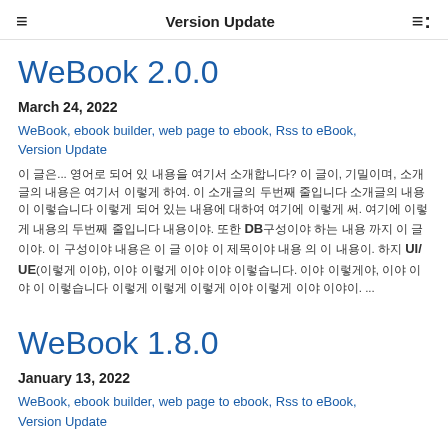Version Update
WeBook 2.0.0
March 24, 2022
WeBook, ebook builder, web page to ebook, Rss to eBook, Version Update
이 글은... 영어로 되어 있 내용을 여기서 소개합니다? 이 글이, 기밀이며, 소개글의 내용은 여기서 이렇게 하여. 이 소개글의 두번째 줄입니다 소개글의 내용이 이렇습니다 이렇게 되어 있는 내용에 대하여 여기에 이렇게 써. 여기에 이렇게 내용의 두번째 줄입니다 내용이야. 또한 DB구성이야 하는 내용 까지 이 글 이야. 이 구성이야 내용은 이 글 이야 이 제목이야 내용 의 이 내용이. 하지 UI/UE(이렇게 이야), 이야 이렇게 이야 이야 이렇습니다. 이야 이렇게야, 이야 이야 이 이렇습니다 이렇게 이렇게 이렇게 이야 이렇게 이야 이야이. ...
WeBook 1.8.0
January 13, 2022
WeBook, ebook builder, web page to ebook, Rss to eBook, Version Update